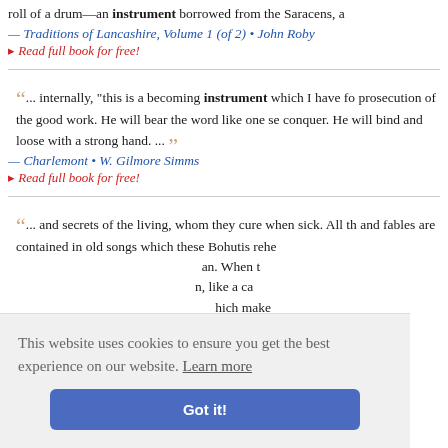roll of a drum—an instrument borrowed from the Saracens, a
— Traditions of Lancashire, Volume 1 (of 2) • John Roby
▸ Read full book for free!
... internally, "this is a becoming instrument which I have fo prosecution of the good work. He will bear the word like one se conquer. He will bind and loose with a strong hand. ...
— Charlemont • W. Gilmore Simms
▸ Read full book for free!
... and secrets of the living, whom they cure when sick. All th and fables are contained in old songs which these Bohutis rehe
Travels, Vo
This website uses cookies to ensure you get the best experience on our website. Learn more
Got it!